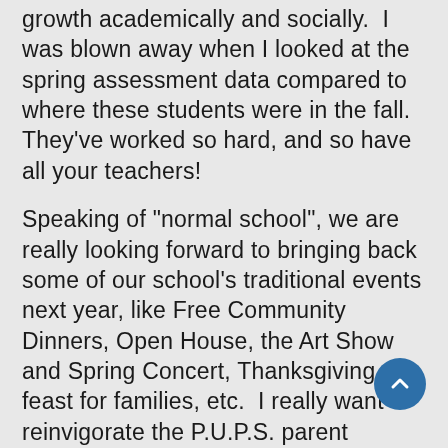adversity this year, your children have made amazing growth academically and socially.  I was blown away when I looked at the spring assessment data compared to where these students were in the fall.  They've worked so hard, and so have all your teachers!
Speaking of "normal school", we are really looking forward to bringing back some of our school's traditional events next year, like Free Community Dinners, Open House, the Art Show and Spring Concert, Thanksgiving feast for families, etc.  I really want to reinvigorate the P.U.P.S. parent organization so we can plan movie nights, sledding parties, and dances for our community. The pre-Covid P.U.P.S. group left quite a full bank account balance from their fund-raisers, which has been sitting there waiting till we can plan events again.  I've talked to many parents who are starved for the school community connection and are